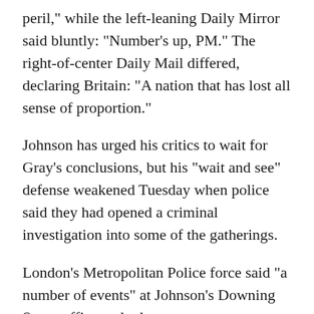peril," while the left-leaning Daily Mirror said bluntly: "Number's up, PM." The right-of-center Daily Mail differed, declaring Britain: "A nation that has lost all sense of proportion."
Johnson has urged his critics to wait for Gray's conclusions, but his "wait and see" defense weakened Tuesday when police said they had opened a criminal investigation into some of the gatherings.
London's Metropolitan Police force said "a number of events" at Johnson's Downing Street office and other government buildings met the force's criteria for investigating the "most serious and flagrant" breaches of coronavirus rules.